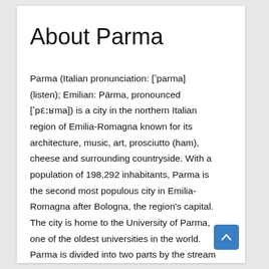About Parma
Parma (Italian pronunciation: [ˈparma] (listen); Emilian: Pärma, pronounced [ˈpɛːʙma]) is a city in the northern Italian region of Emilia-Romagna known for its architecture, music, art, prosciutto (ham), cheese and surrounding countryside. With a population of 198,292 inhabitants, Parma is the second most populous city in Emilia-Romagna after Bologna, the region's capital. The city is home to the University of Parma, one of the oldest universities in the world. Parma is divided into two parts by the stream of the same name. The district on the far side of the river is Oltretorrente.